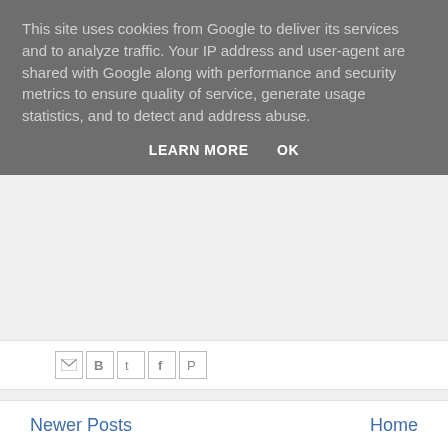This site uses cookies from Google to deliver its services and to analyze traffic. Your IP address and user-agent are shared with Google along with performance and security metrics to ensure quality of service, generate usage statistics, and to detect and address abuse.
LEARN MORE   OK
[Figure (screenshot): Social share icons: Email, Blogger, Twitter, Facebook, Pinterest]
Newer Posts   Home
Subscribe to: Posts (Atom)
Powe